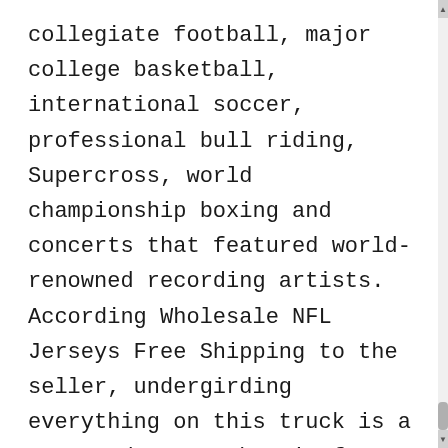collegiate football, major college basketball, international soccer, professional bull riding, Supercross, world championship boxing and concerts that featured world-renowned recording artists. According Wholesale NFL Jerseys Free Shipping to the seller, undergirding everything on this truck is a more modern GM chassis from the 1990 model year. As the pictures clearly demonstrate, the Wax Red and White body panels are straight as an arrow on this VW Bus, showing it's lived a good life and Wholesale NFL Jerseys Free Shipping been well cared-for. The Impala's powertrains get the job done with neither fuss nor excessive excitement. Big left arrow icon Cheap Jerseys 90 Big right arrow icon Close Womens Zach Ertz Jersey icon Copy Url Three dots Jerseys